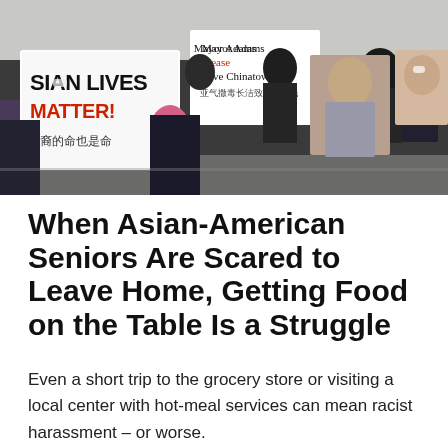[Figure (photo): Protest scene showing people holding signs. One sign reads 'ASIAN LIVES MATTER! 亚裔的命也是命'. Another sign reads 'Mayor Adams Please Save Chinatown 亚气撒毒长洁致救奋人民'. Large portrait photos of two people are displayed on the ground.]
When Asian-American Seniors Are Scared to Leave Home, Getting Food on the Table Is a Struggle
Even a short trip to the grocery store or visiting a local center with hot-meal services can mean racist harassment – or worse.